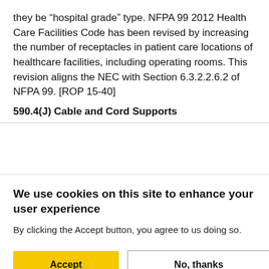they be “hospital grade” type. NFPA 99 2012 Health Care Facilities Code has been revised by increasing the number of receptacles in patient care locations of healthcare facilities, including operating rooms. This revision aligns the NEC with Section 6.3.2.2.6.2 of NFPA 99. [ROP 15-40]
590.4(J) Cable and Cord Supports
We use cookies on this site to enhance your user experience
By clicking the Accept button, you agree to us doing so.
Accept | No, thanks